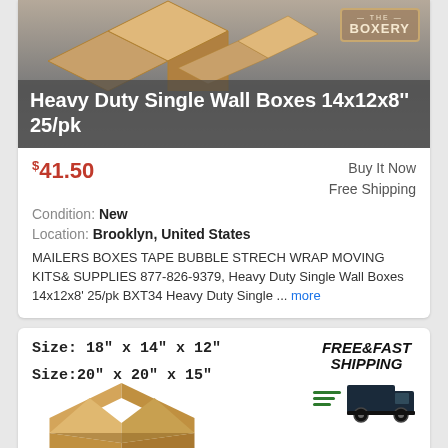[Figure (photo): Cardboard boxes and The Boxery logo on product image]
Heavy Duty Single Wall Boxes 14x12x8'' 25/pk
$41.50  Buy It Now  Free Shipping
Condition: New
Location: Brooklyn, United States
MAILERS BOXES TAPE BUBBLE STRECH WRAP MOVING KITS& SUPPLIES 877-826-9379, Heavy Duty Single Wall Boxes 14x12x8' 25/pk BXT34 Heavy Duty Single ... more
[Figure (infographic): Size specifications (18x14x12 and 20x20x15) with FREE&FAST SHIPPING truck graphic and open cardboard box photo]